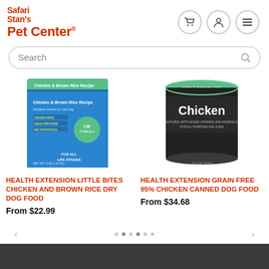[Figure (logo): Safari Stan's Pet Center logo in red/orange bold text]
Search
[Figure (photo): Health Extension Little Bites Chicken and Brown Rice Dry Dog Food - blue bag/can packaging]
[Figure (photo): Health Extension Grain Free 95% Chicken Canned Dog Food - dark can with green top and Chicken label]
HEALTH EXTENSION LITTLE BITES CHICKEN AND BROWN RICE DRY DOG FOOD
From $22.99
HEALTH EXTENSION GRAIN FREE 95% CHICKEN CANNED DOG FOOD
From $34.68